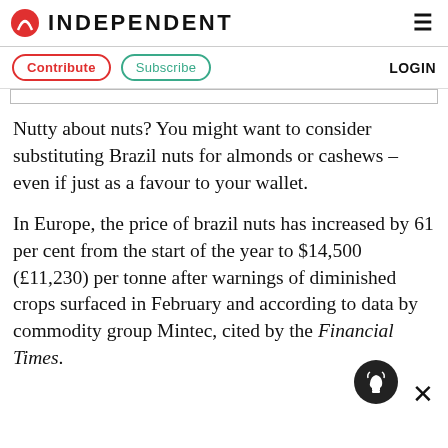INDEPENDENT
Contribute   Subscribe   LOGIN
Nutty about nuts? You might want to consider substituting Brazil nuts for almonds or cashews – even if just as a favour to your wallet.
In Europe, the price of brazil nuts has increased by 61 per cent from the start of the year to $14,500 (£11,230) per tonne after warnings of diminished crops surfaced in February and according to data by commodity group Mintec, cited by the Financial Times.